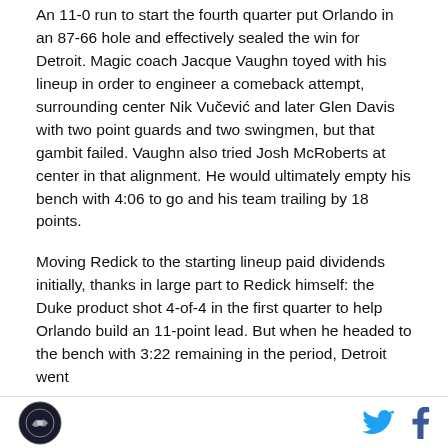An 11-0 run to start the fourth quarter put Orlando in an 87-66 hole and effectively sealed the win for Detroit. Magic coach Jacque Vaughn toyed with his lineup in order to engineer a comeback attempt, surrounding center Nik Vučević and later Glen Davis with two point guards and two swingmen, but that gambit failed. Vaughn also tried Josh McRoberts at center in that alignment. He would ultimately empty his bench with 4:06 to go and his team trailing by 18 points.
Moving Redick to the starting lineup paid dividends initially, thanks in large part to Redick himself: the Duke product shot 4-of-4 in the first quarter to help Orlando build an 11-point lead. But when he headed to the bench with 3:22 remaining in the period, Detroit went
[logo] [twitter] [facebook]